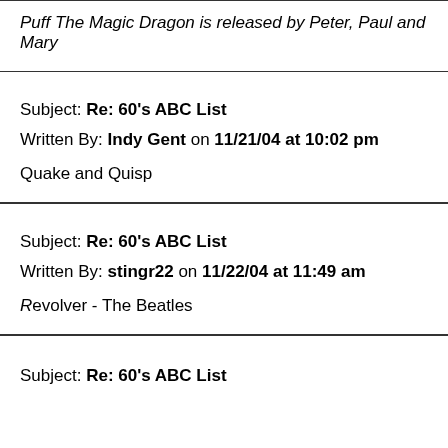Puff The Magic Dragon is released by Peter, Paul and Mary
Subject: Re: 60's ABC List
Written By: Indy Gent on 11/21/04 at 10:02 pm
Quake and Quisp
Subject: Re: 60's ABC List
Written By: stingr22 on 11/22/04 at 11:49 am
Revolver - The Beatles
Subject: Re: 60's ABC List